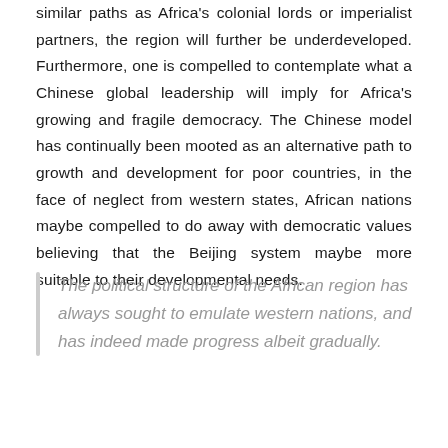similar paths as Africa's colonial lords or imperialist partners, the region will further be underdeveloped. Furthermore, one is compelled to contemplate what a Chinese global leadership will imply for Africa's growing and fragile democracy. The Chinese model has continually been mooted as an alternative path to growth and development for poor countries, in the face of neglect from western states, African nations maybe compelled to do away with democratic values believing that the Beijing system maybe more suitable to their developmental needs.
The political structure of the African region has always sought to emulate western nations, and has indeed made progress albeit gradually.